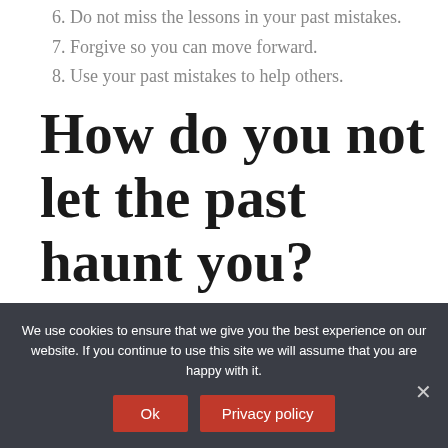6. Do not miss the lessons in your past mistakes.
7. Forgive so you can move forward.
8. Use your past mistakes to help others.
How do you not let the past haunt you?
Here's what to do:
1. Learn to Live In the Present.
2. Change the Past.
We use cookies to ensure that we give you the best experience on our website. If you continue to use this site we will assume that you are happy with it.